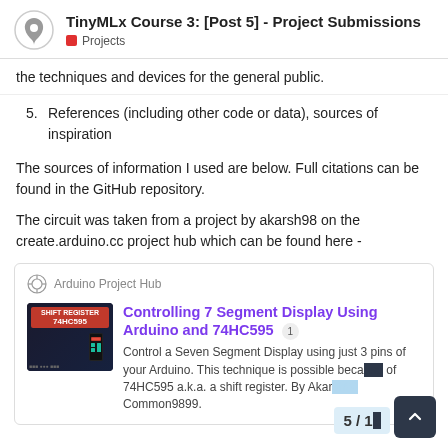TinyMLx Course 3: [Post 5] - Project Submissions | Projects
the techniques and devices for the general public.
5. References (including other code or data), sources of inspiration
The sources of information I used are below. Full citations can be found in the GitHub repository.
The circuit was taken from a project by akarsh98 on the create.arduino.cc project hub which can be found here -
[Figure (screenshot): Arduino Project Hub link card showing 'Controlling 7 Segment Display Using Arduino and 74HC595' with a thumbnail image of the project and description: 'Control a Seven Segment Display using just 3 pins of your Arduino. This technique is possible because of 74HC595 a.k.a. a shift register. By Akar... Common9899.']